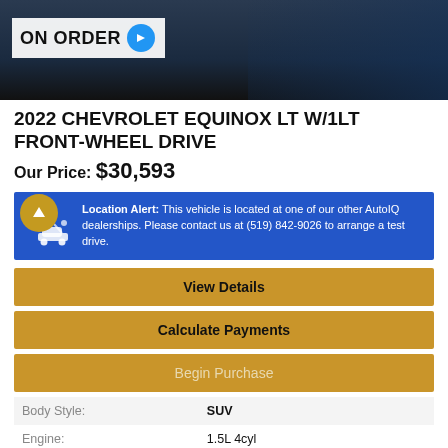[Figure (photo): Car image with 'ON ORDER' badge overlay and blue arrow button]
2022 CHEVROLET EQUINOX LT W/1LT FRONT-WHEEL DRIVE
Our Price: $30,593
Location Alert: This vehicle is located at one of our other AutoIQ dealerships. Please contact us at (519) 842-9026 to arrange a test drive.
View Details
Calculate Payments
Begin Purchase
| Body Style: | SUV |
| Engine: | 1.5L 4cyl |
| Exterior Colour: | Other |
| VIN: | 3GNAXKEVXNL298610 |